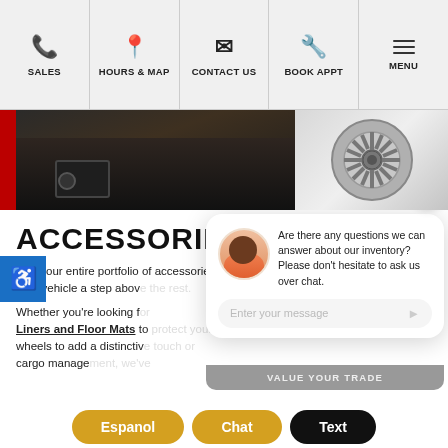SALES | HOURS & MAP | CONTACT US | BOOK APPT | MENU
[Figure (photo): Close-up photo of dark car floor mat/liner on left, chrome car wheel on right]
ACCESSORIES
Shop our entire portfolio... your vehicle a step above...
Whether you're looking for Liners and Floor Mats to... wheels to add a distinctive touch or... expand cargo manage... we've... er...
[Figure (screenshot): Chat widget overlay with avatar, message 'Are there any questions we can answer about our inventory? Please don't hesitate to ask us over chat.', and message input field with send button. VALUE YOUR TRADE button below.]
Espanol
Chat
Text